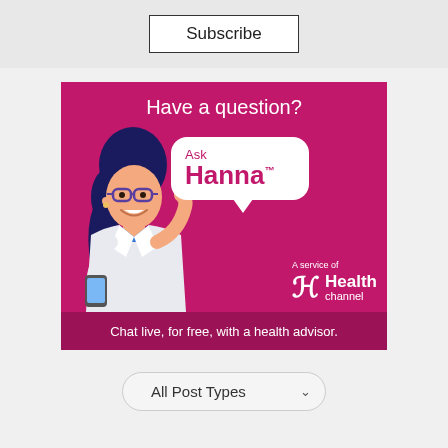Subscribe
[Figure (illustration): Ask Hanna advertisement banner. Magenta background with a cartoon female doctor/health advisor with glasses, white coat, holding a phone. Speech bubble reads 'Ask Hanna™'. Text: 'Have a question?', 'A service of Health channel', 'Chat live, for free, with a health advisor.']
All Post Types